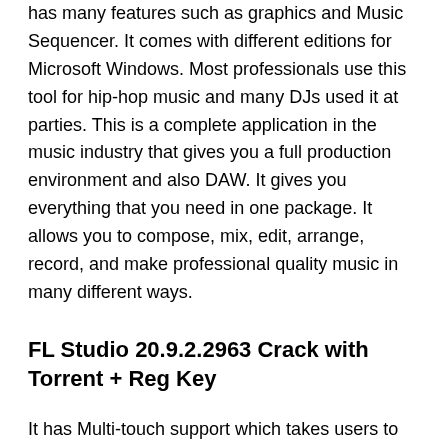has many features such as graphics and Music Sequencer. It comes with different editions for Microsoft Windows. Most professionals use this tool for hip-hop music and many DJs used it at parties. This is a complete application in the music industry that gives you a full production environment and also DAW. It gives you everything that you need in one package. It allows you to compose, mix, edit, arrange, record, and make professional quality music in many different ways.
FL Studio 20.9.2.2963 Crack with Torrent + Reg Key
It has Multi-touch support which takes users to the next level in a well-organized with effective notes. Users can mix several tracks and control everything with automatic features. Moreover, it gives you the best way to play an amazing piano role. Users can also repeat sounds many times in a project. It is the greatest app all over the world.